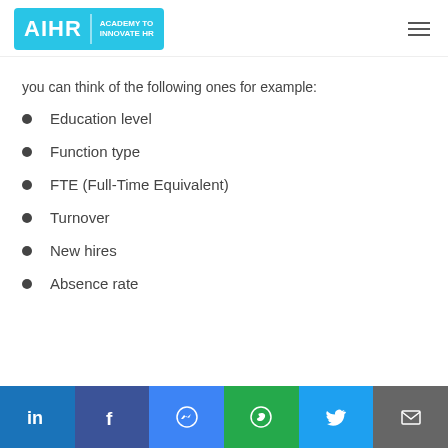AIHR | ACADEMY TO INNOVATE HR
you can think of the following ones for example:
Education level
Function type
FTE (Full-Time Equivalent)
Turnover
New hires
Absence rate
LinkedIn | Facebook | Messenger | WhatsApp | Twitter | Email